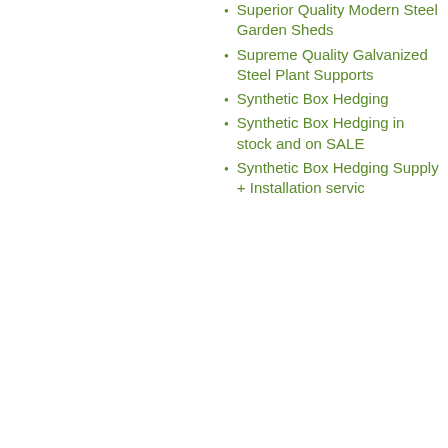Superior Quality Modern Steel Garden Sheds
Supreme Quality Galvanized Steel Plant Supports
Synthetic Box Hedging
Synthetic Box Hedging in stock and on SALE
Synthetic Box Hedging Supply + Installation Servic[e]
Synthetic Buxus Hedge
Synthetic Buxus…
Synthetic Lawn…
Our site uses cookies, including for advertising personalisation. For more information, see our cookie policy.
Accept cookies and close
Reject cookies
Manage settings